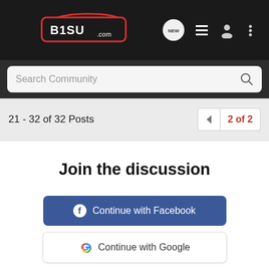[Figure (logo): B1SU.com logo with car silhouette on dark navbar, plus navigation icons: NEW chat bubble, list icon, user icon, more (three dots)]
Search Community
21 - 32 of 32 Posts
2 of 2
Join the discussion
Continue with Facebook
Continue with Google
or sign up with email